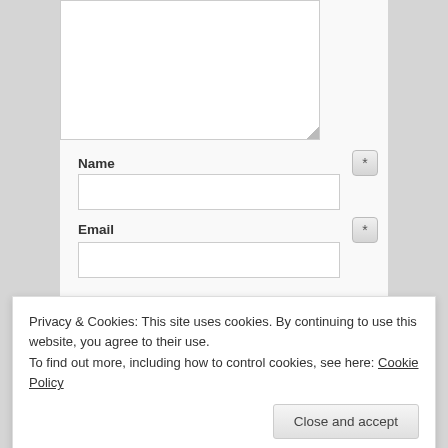[Figure (screenshot): Textarea form input box at top of page, empty white rectangle with resize handle at bottom right]
Name
[Figure (screenshot): Required field asterisk badge next to Name field]
[Figure (screenshot): Name text input field, empty white rectangle]
Email
[Figure (screenshot): Required field asterisk badge next to Email field]
[Figure (screenshot): Email text input field, empty white rectangle]
Privacy & Cookies: This site uses cookies. By continuing to use this website, you agree to their use.
To find out more, including how to control cookies, see here: Cookie Policy
Close and accept
Notify me of new posts by email.